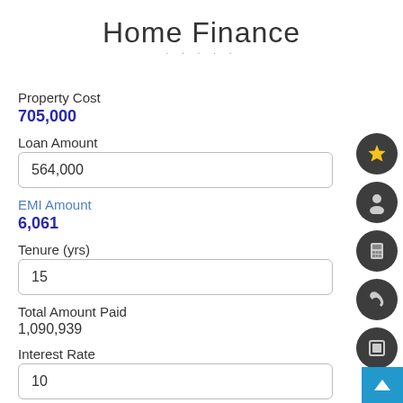Home Finance
· · · · ·
Property Cost
705,000
Loan Amount
564,000
EMI Amount
6,061
Tenure (yrs)
15
Total Amount Paid
1,090,939
Interest Rate
10
Interest Paid